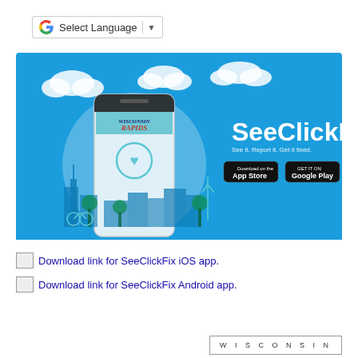[Figure (logo): Google Translate widget bar showing G logo, 'Select Language' text, and dropdown arrow]
[Figure (infographic): SeeClickFix promotional banner on blue background with Wisconsin Rapids branded smartphone illustration, city skyline, and App Store / Google Play download buttons. Text: SeeClickFix, See it. Report it. Get it fixed.]
Download link for SeeClickFix iOS app.
Download link for SeeClickFix Android app.
[Figure (logo): Wisconsin Rapids logo box with 'WISCONSIN' text in spaced letters]